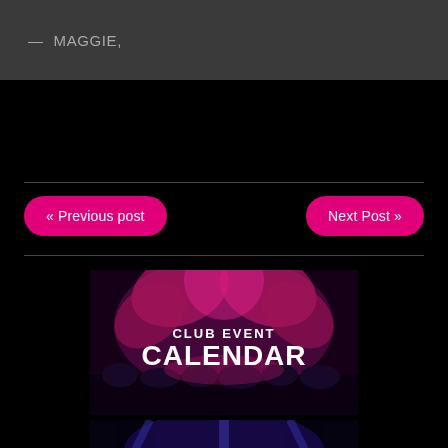— MAGGIE,
« Previous post
Next Post »
[Figure (photo): Club Event Calendar promotional banner with pink/magenta abstract floral backdrop, crowd below, bold white text reading CLUB EVENT CALENDAR]
[Figure (photo): Nightclub promotional image with blue/purple lighting and text NIGHTCLUB partially visible]